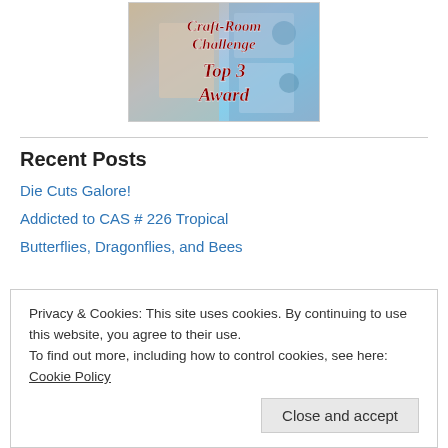[Figure (illustration): Craft-Room Challenge Top 3 Award badge image with collage background and decorative red italic text]
Recent Posts
Die Cuts Galore!
Addicted to CAS # 226 Tropical
Butterflies, Dragonflies, and Bees
Privacy & Cookies: This site uses cookies. By continuing to use this website, you agree to their use. To find out more, including how to control cookies, see here: Cookie Policy
Close and accept